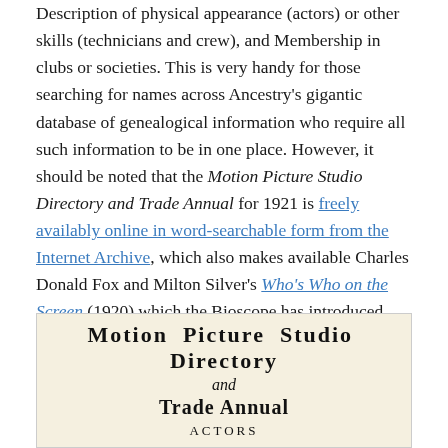Description of physical appearance (actors) or other skills (technicians and crew), and Membership in clubs or societies. This is very handy for those searching for names across Ancestry's gigantic database of genealogical information who require all such information to be in one place. However, it should be noted that the Motion Picture Studio Directory and Trade Annual for 1921 is freely availably online in word-searchable form from the Internet Archive, which also makes available Charles Donald Fox and Milton Silver's Who's Who on the Screen (1920) which the Bioscope has introduced before now and portraits with text from which are reproduced on the Bioscope's Flickr site.
[Figure (illustration): Title page or cover of 'Motion Picture Studio Directory and Trade Annual' showing the title in bold serif type with 'and' in italic script, followed by 'Trade Annual' and 'ACTORS' below, on a cream/aged paper background.]